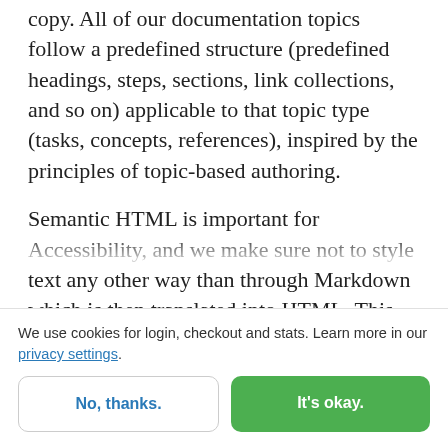copy. All of our documentation topics follow a predefined structure (predefined headings, steps, sections, link collections, and so on) applicable to that topic type (tasks, concepts, references), inspired by the principles of topic-based authoring.
Semantic HTML is important for Accessibility, and we make sure not to style text any other way than through Markdown which is then translated into HTML. This way, screen readers can properly navigate through the content, and it also helps overall
We use cookies for login, checkout and stats. Learn more in our privacy settings.